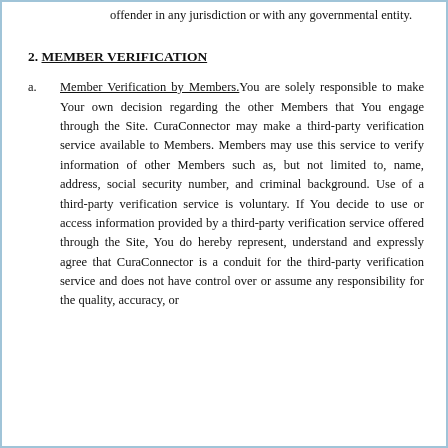offender in any jurisdiction or with any governmental entity.
2. MEMBER VERIFICATION
a. Member Verification by Members. You are solely responsible to make Your own decision regarding the other Members that You engage through the Site. CuraConnector may make a third-party verification service available to Members. Members may use this service to verify information of other Members such as, but not limited to, name, address, social security number, and criminal background. Use of a third-party verification service is voluntary. If You decide to use or access information provided by a third-party verification service offered through the Site, You do hereby represent, understand and expressly agree that CuraConnector is a conduit for the third-party verification service and does not have control over or assume any responsibility for the quality, accuracy, or